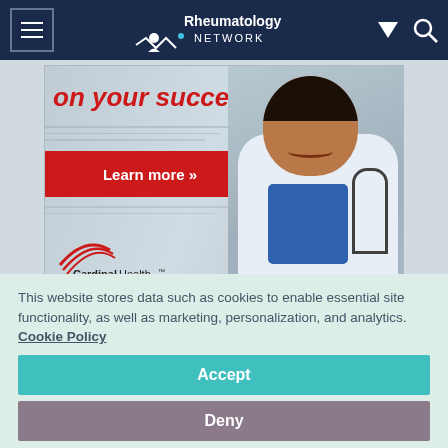Rheumatology Network
[Figure (photo): Cardinal Health advertisement banner showing a smiling female doctor in a white coat with stethoscope. Text reads 'on your success', 'Learn more »', and 'CardinalHealth' logo.]
This website stores data such as cookies to enable essential site functionality, as well as marketing, personalization, and analytics. Cookie Policy
Accept
Deny